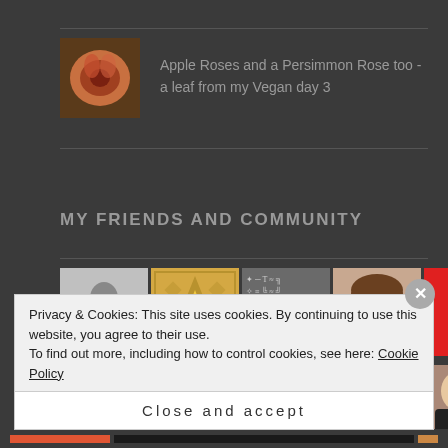[Figure (photo): Thumbnail of apple rose pastry]
Apple Roses and a Persimmon Rose too - a leaf from my Vegan day 3
MY FRIENDS AND COMMUNITY
[Figure (photo): Row of friend/community avatar thumbnails - black and white person, gold pattern, symbols grid, cartoon face, red square, face photo, monkey photo, person in green]
[Figure (photo): Second row of friend/community avatar thumbnails - icon, person photo, purple pattern, face photo, dark pattern, outdoor photo, green pattern]
Privacy & Cookies: This site uses cookies. By continuing to use this website, you agree to their use.
To find out more, including how to control cookies, see here: Cookie Policy
Close and accept